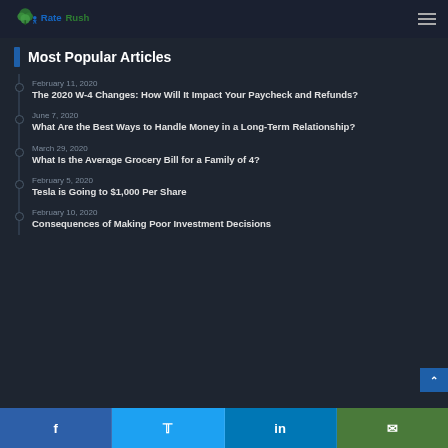RateRush
Most Popular Articles
February 11, 2020 — The 2020 W-4 Changes: How Will It Impact Your Paycheck and Refunds?
June 7, 2020 — What Are the Best Ways to Handle Money in a Long-Term Relationship?
March 29, 2020 — What Is the Average Grocery Bill for a Family of 4?
February 5, 2020 — Tesla is Going to $1,000 Per Share
February 10, 2020 — Consequences of Making Poor Investment Decisions
f  Twitter  in  Email